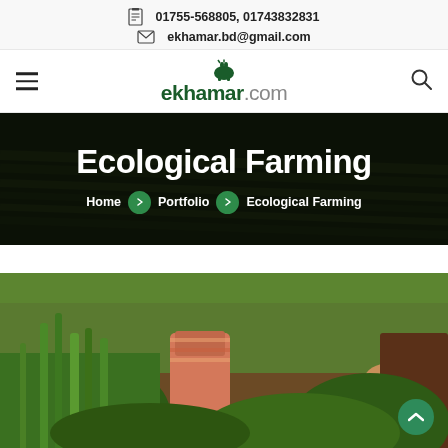01755-568805, 01743832831
ekhamar.bd@gmail.com
[Figure (logo): ekhamar.com logo with cow icon in green]
Ecological Farming
Home  >  Portfolio  >  Ecological Farming
[Figure (photo): People harvesting green plants/crops in a field, hands picking vegetation]